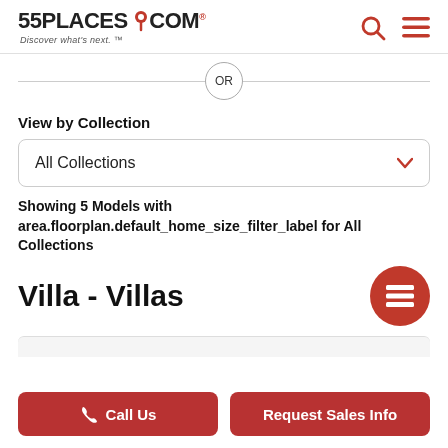55PLACES.COM Discover what's next.
OR
View by Collection
All Collections
Showing 5 Models with area.floorplan.default_home_size_filter_label for All Collections
Villa - Villas
Call Us   Request Sales Info